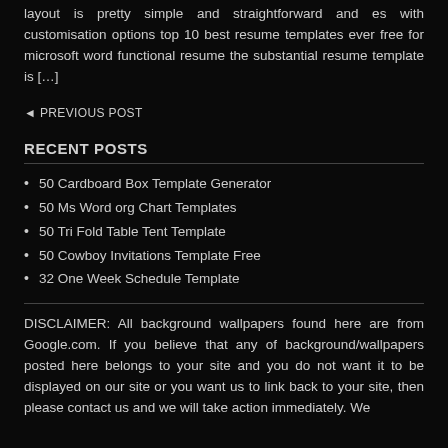layout is pretty simple and straightforward and es with customisation options top 10 best resume templates ever free for microsoft word functional resume the substantial resume template is […]
◄ PREVIOUS POST
RECENT POSTS
50 Cardboard Box Template Generator
50 Ms Word org Chart Templates
50 Tri Fold Table Tent Template
50 Cowboy Invitations Template Free
32 One Week Schedule Template
DISCLAIMER: All background wallpapers found here are from Google.com. If you believe that any of background/wallpapers posted here belongs to your site and you do not want it to be displayed on our site or you want us to link back to your site, then please contact us and we will take action immediately. We